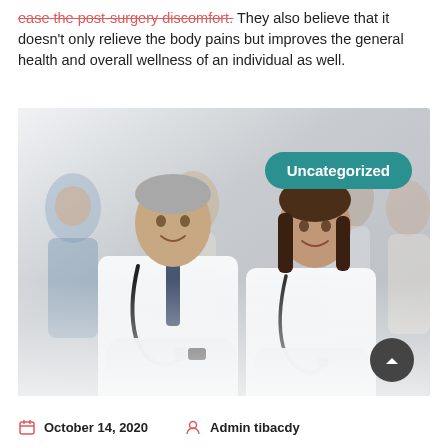ease the post-surgery discomfort. They also believe that it doesn't only relieve the body pains but improves the general health and overall wellness of an individual as well.
[Figure (photo): Group of smiling doctors and medical professionals in white coats with stethoscopes, posed together in a hospital or clinic setting. A teal 'Uncategorized' badge overlays the upper right of the image. A dark scroll-to-top arrow button appears in the lower right corner.]
October 14, 2020   Admin tibacdy